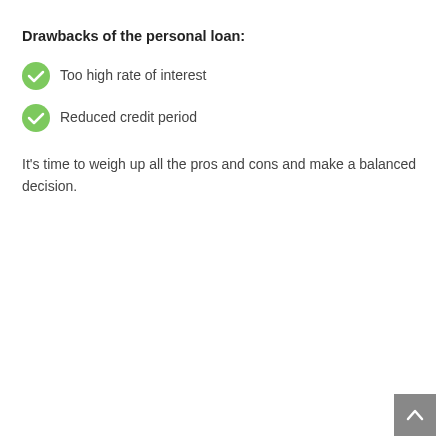Drawbacks of the personal loan:
Too high rate of interest
Reduced credit period
It's time to weigh up all the pros and cons and make a balanced decision.